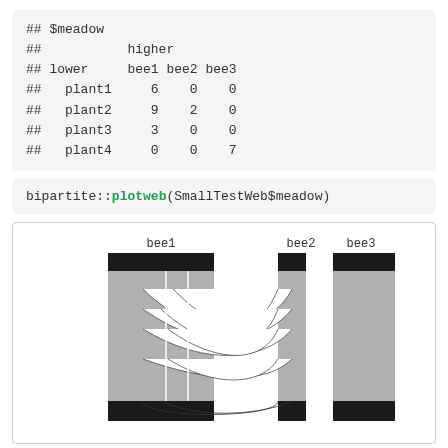## $meadow
##            higher
## lower      bee1 bee2 bee3
##   plant1      6    0    0
##   plant2      9    2    0
##   plant3      3    0    0
##   plant4      0    0    7
bipartite::plotweb(SmallTestWeb$meadow)
[Figure (other): Bipartite web plot showing interactions between plants (lower) and bees (higher). Three bee columns (bee1, bee2, bee3) shown at top as black and grey bars with crossing interaction lines connecting to plant rows below.]